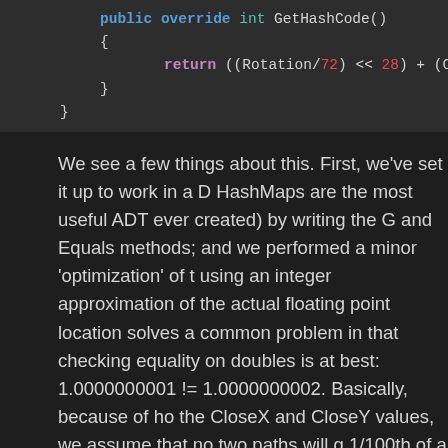[Figure (screenshot): Code block showing C# public override int GetHashCode() method with return statement using Rotation/72 bit-shifted and CloseX bit-shifted operations]
We see a few things about this. First, we've set it up to work in a D HashMaps are the most useful ADT ever created) by writing the G and Equals methods; and we performed a minor 'optimization' of t using an integer approximation of the actual floating point location solves a common problem in that checking equality on doubles is at best: 1.0000000001 != 1.0000000002. Basically, because of ho the CloseX and CloseY values, we assume that no two paths will g 1/100th of a unit distance from each other, and not actually be at t point. Experimentally, this results in the same number of distinct pa a 10,000 multiplier; so it probably works.
This can also sort of be verified mathamatically: because there are basic movements, the number of areas that can be visited is much you can't visit every point on the plane using this robot. Or, somew math terms: the movements that can be made do not form a Basis plane. (I'm fairly sure that's a terrible butchering of Linear Algebra but it works for me). This is mostly because it can't move at arbitra the directions it can move in: ie it can't reverse, it can't move d